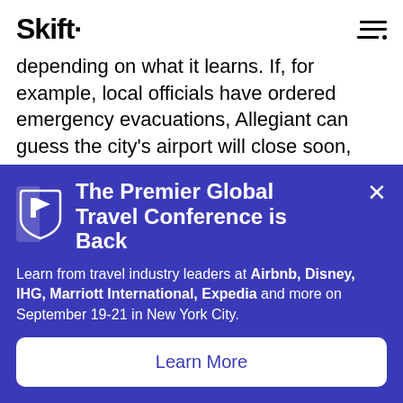Skift
depending on what it learns. If, for example, local officials have ordered emergency evacuations, Allegiant can guess the city's airport will close soon, and perhaps stop flying sooner than planned.
"You can pick a number. But giving a th
[Figure (logo): Skift Global Forum logo — shield/flag icon with Skift Global Forum text]
The Premier Global Travel Conference is Back
Learn from travel industry leaders at Airbnb, Disney, IHG, Marriott International, Expedia and more on September 19-21 in New York City.
Learn More